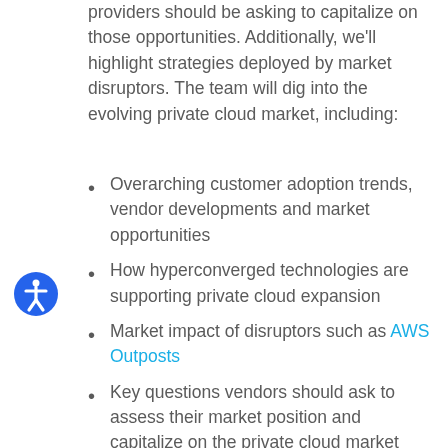providers should be asking to capitalize on those opportunities. Additionally, we'll highlight strategies deployed by market disruptors. The team will dig into the evolving private cloud market, including:
Overarching customer adoption trends, vendor developments and market opportunities
How hyperconverged technologies are supporting private cloud expansion
Market impact of disruptors such as AWS Outposts
Key questions vendors should ask to assess their market position and capitalize on the private cloud market opportunity